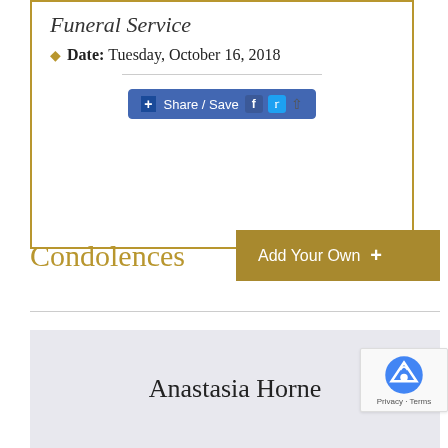Funeral Service
Date: Tuesday, October 16, 2018
[Figure (other): Share/Save social media button with Facebook, Twitter, and share icons]
Condolences
Add Your Own +
Anastasia Horne